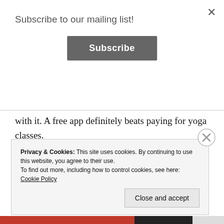Subscribe to our mailing list!
Subscribe
with it. A free app definitely beats paying for yoga classes.
I think that’s enough to start.
Sponsored Content
Privacy & Cookies: This site uses cookies. By continuing to use this website, you agree to their use.
To find out more, including how to control cookies, see here: Cookie Policy
Close and accept